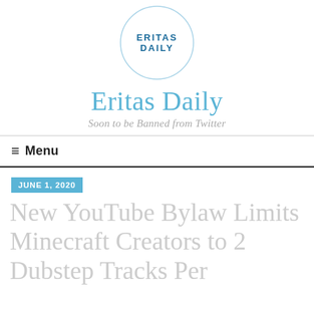[Figure (logo): Eritas Daily circular logo with text ERITASDAILY inside a circle]
Eritas Daily
Soon to be Banned from Twitter
≡  Menu
JUNE 1, 2020
New YouTube Bylaw Limits Minecraft Creators to 2 Dubstep Tracks Per